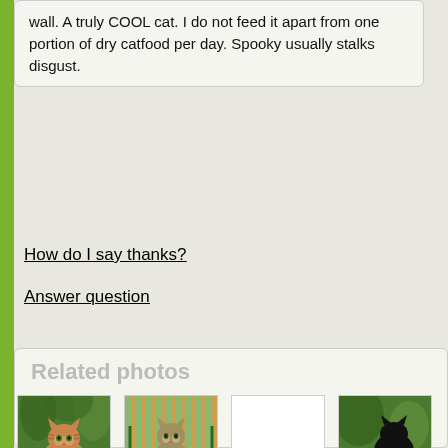wall. A truly COOL cat. I do not feed it apart from one portion of dry catfood per day. Spooky usually stalks disgust.
How do I say thanks?
Answer question
Related photos
[Figure (photo): Photo of a tabby cat named Janey among green plants]
Janey
[Figure (photo): Photo of a cat named Clarice sitting on a striped green chair]
Clarice
[Figure (photo): Blank/missing photo for Sewingkilla]
Sewingkilla
[Figure (photo): Partial photo of a cat, name cut off]
M...